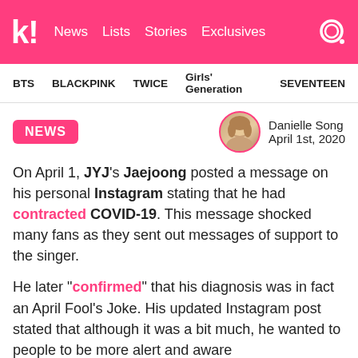Koreaboo — News | Lists | Stories | Exclusives
BTS  BLACKPINK  TWICE  Girls' Generation  SEVENTEEN
NEWS
Danielle Song
April 1st, 2020
On April 1, JYJ's Jaejoong posted a message on his personal Instagram stating that he had contracted COVID-19. This message shocked many fans as they sent out messages of support to the singer.
He later "confirmed" that his diagnosis was in fact an April Fool's Joke. His updated Instagram post stated that although it was a bit much, he wanted to people to be more alert and aware